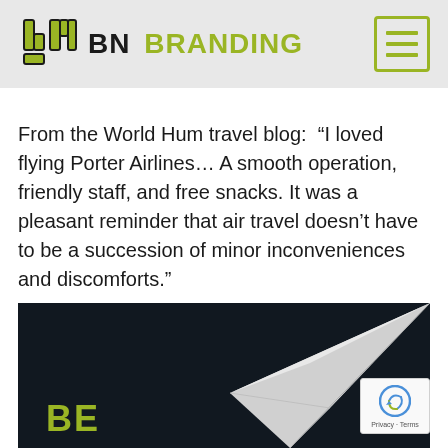[Figure (logo): BN Branding logo with stylized 'b' icon in yellow-green and black, text 'BN' in black bold and 'BRANDING' in yellow-green bold, with hamburger menu icon on the right in yellow-green border]
From the World Hum travel blog:  “I loved flying Porter Airlines… A smooth operation, friendly staff, and free snacks. It was a pleasant reminder that air travel doesn’t have to be a succession of minor inconveniences and discomforts.”
[Figure (illustration): Dark navy/black background with a white paper airplane illustration on the right side and the beginning of large bold text 'BE' in yellow-green at the bottom left, suggesting 'BE LAUNCHED' or similar tagline]